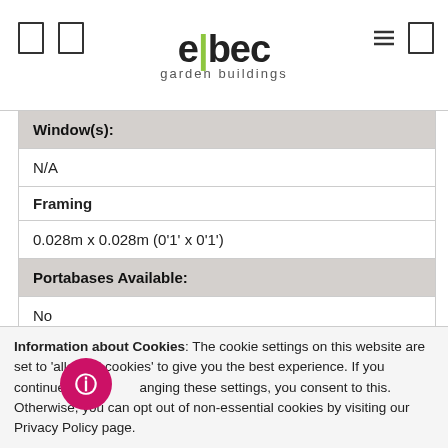elbec garden buildings
| Window(s): |  |
| N/A |  |
| Framing |  |
| 0.028m x 0.028m (0'1' x 0'1') |  |
| Portabases Available: |  |
| No |  |
| Eco Bases Available: |  |
| N/A |  |
| Number Required: |  |
| N/A |  |
| Manufacturers Guarantee: |  |
Information about Cookies: The cookie settings on this website are set to 'allow all cookies' to give you the best experience. If you continue without changing these settings, you consent to this. Otherwise, you can opt out of non-essential cookies by visiting our Privacy Policy page.